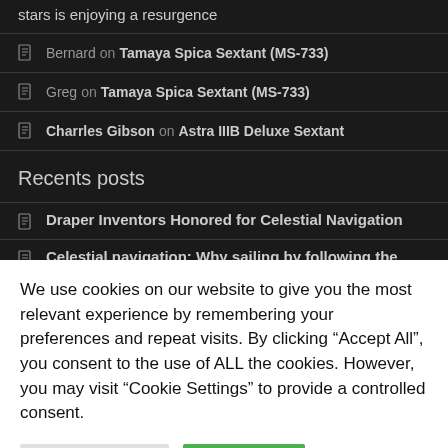stars is enjoying a resurgence
Bernard on Tamaya Spica Sextant (MS-733)
Greg on Tamaya Spica Sextant (MS-733)
Charrles Gibson on Astra IIIB Deluxe Sextant
Recents posts
Draper Inventors Honored for Celestial Navigation
Celestial navigation: Why sailing by following the stars is
We use cookies on our website to give you the most relevant experience by remembering your preferences and repeat visits. By clicking "Accept All", you consent to the use of ALL the cookies. However, you may visit "Cookie Settings" to provide a controlled consent.
Cookie Settings | Accept All